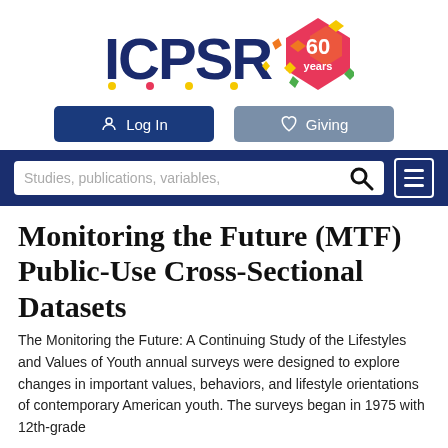[Figure (logo): ICPSR logo with '60 years' diamond badge in pink/orange/yellow/green colors]
[Figure (screenshot): Log In and Giving navigation buttons]
[Figure (screenshot): Navigation bar with search box 'Studies, publications, variables,' and hamburger menu icon]
Monitoring the Future (MTF) Public-Use Cross-Sectional Datasets
The Monitoring the Future: A Continuing Study of the Lifestyles and Values of Youth annual surveys were designed to explore changes in important values, behaviors, and lifestyle orientations of contemporary American youth. The surveys began in 1975 with 12th-grade